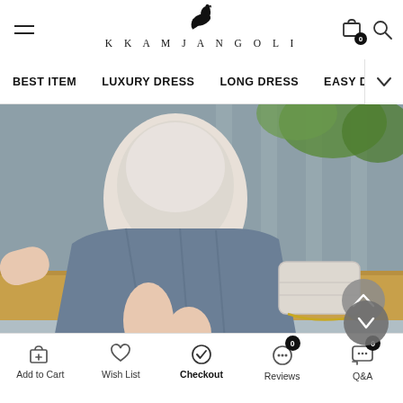KKAMJANGOLI
BEST ITEM
LUXURY DRESS
LONG DRESS
EASY DRESS
[Figure (photo): Fashion model seated on a bench wearing a white top and blue pleated skirt, with a white handbag beside her]
Add to Cart
Wish List
Checkout
Reviews
Q&A